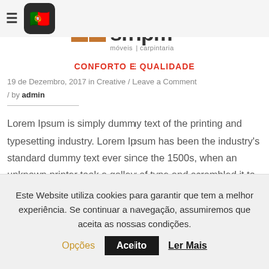MODERN WORKSPACE — smpm móveis | carpintaria — CONFORTO E QUALIDADE
19 de Dezembro, 2017 in Creative / Leave a Comment / by admin
Lorem Ipsum is simply dummy text of the printing and typesetting industry. Lorem Ipsum has been the industry's standard dummy text ever since the 1500s, when an unknown printer took a galley of type and scrambled it to make a type specimen book. It has survived not only five centuries, but also the leap into electronic
Este Website utiliza cookies para garantir que tem a melhor experiência. Se continuar a navegação, assumiremos que aceita as nossas condições. Opções   Aceito   Ler Mais